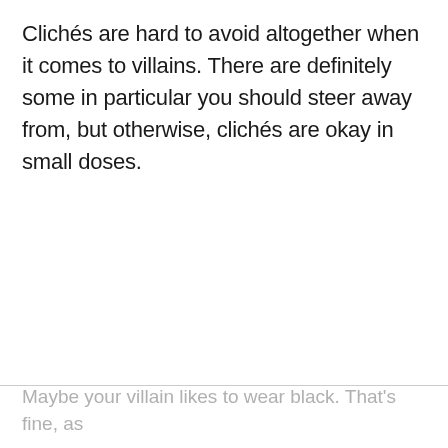Clichés are hard to avoid altogether when it comes to villains. There are definitely some in particular you should steer away from, but otherwise, clichés are okay in small doses.
Maybe your villain likes to wear black. That's fine, as